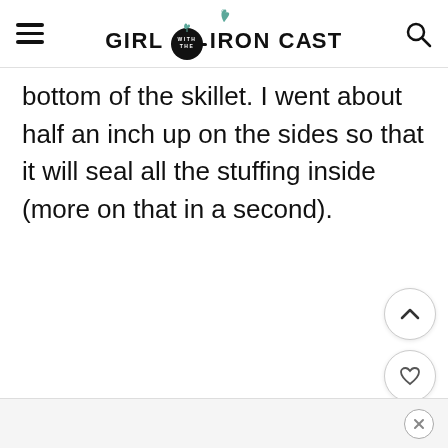GIRL WITH THE IRON CAST
bottom of the skillet. I went about half an inch up on the sides so that it will seal all the stuffing inside (more on that in a second).